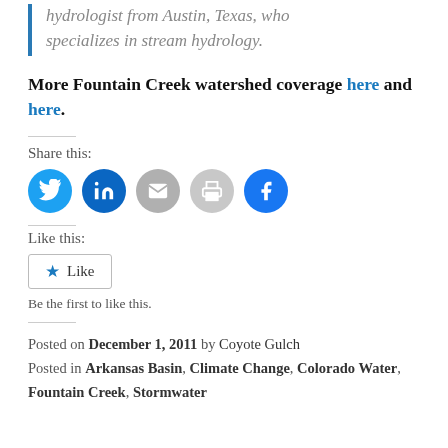hydrologist from Austin, Texas, who specializes in stream hydrology.
More Fountain Creek watershed coverage here and here.
[Figure (infographic): Social share buttons: Twitter, LinkedIn, Email, Print, Facebook]
Like this: Like. Be the first to like this.
Posted on December 1, 2011 by Coyote Gulch
Posted in Arkansas Basin, Climate Change, Colorado Water, Fountain Creek, Stormwater